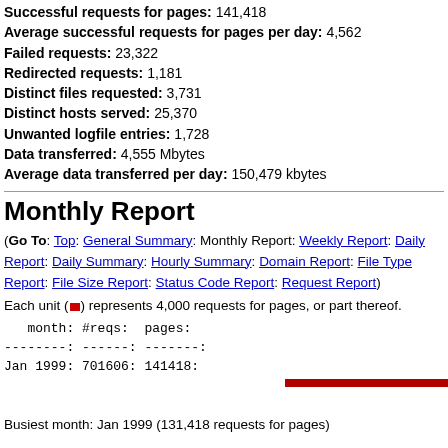Successful requests for pages: 141,418
Average successful requests for pages per day: 4,562
Failed requests: 23,322
Redirected requests: 1,181
Distinct files requested: 3,731
Distinct hosts served: 25,370
Unwanted logfile entries: 1,728
Data transferred: 4,555 Mbytes
Average data transferred per day: 150,479 kbytes
Monthly Report
(Go To: Top: General Summary: Monthly Report: Weekly Report: Daily Report: Daily Summary: Hourly Summary: Domain Report: File Type Report: File Size Report: Status Code Report: Request Report)
Each unit (red icon) represents 4,000 requests for pages, or part thereof.
| month: | #reqs: | pages: |
| --- | --- | --- |
| --------: | ------: | -------: |
| Jan 1999: | 701606: | 141418: |
Busiest month: Jan 1999 (131,418 requests for pages)